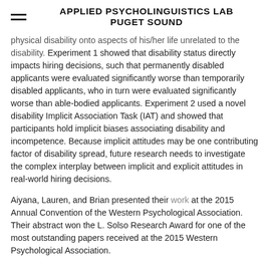APPLIED PSYCHOLINGUISTICS LAB PUGET SOUND
physical disability onto aspects of his/her life unrelated to the disability. Experiment 1 showed that disability status directly impacts hiring decisions, such that permanently disabled applicants were evaluated significantly worse than temporarily disabled applicants, who in turn were evaluated significantly worse than able-bodied applicants. Experiment 2 used a novel disability Implicit Association Task (IAT) and showed that participants hold implicit biases associating disability and incompetence. Because implicit attitudes may be one contributing factor of disability spread, future research needs to investigate the complex interplay between implicit and explicit attitudes in real-world hiring decisions.
Aiyana, Lauren, and Brian presented their work at the 2015 Annual Convention of the Western Psychological Association. Their abstract won the L. Solso Research Award for one of the most outstanding papers received at the 2015 Western Psychological Association.